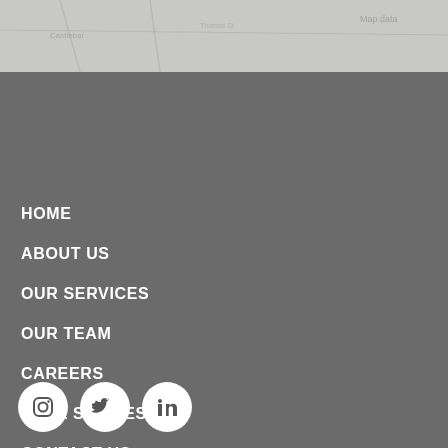[Figure (map): Partial map thumbnail strip at top of page showing a grey/muted map]
HOME
ABOUT US
OUR SERVICES
OUR TEAM
CAREERS
CASE STUDIES
CONTACT US
[Figure (other): Three circular social media icons: Instagram, Twitter, LinkedIn]
Kilkelly Geo-Spatial Solutions,
Thomas St.,
Castlebar,